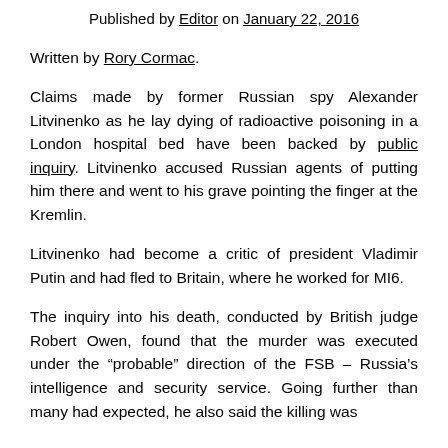Published by Editor on January 22, 2016
Written by Rory Cormac.
Claims made by former Russian spy Alexander Litvinenko as he lay dying of radioactive poisoning in a London hospital bed have been backed by public inquiry. Litvinenko accused Russian agents of putting him there and went to his grave pointing the finger at the Kremlin.
Litvinenko had become a critic of president Vladimir Putin and had fled to Britain, where he worked for MI6.
The inquiry into his death, conducted by British judge Robert Owen, found that the murder was executed under the “probable” direction of the FSB – Russia’s intelligence and security service. Going further than many had expected, he also said the killing was